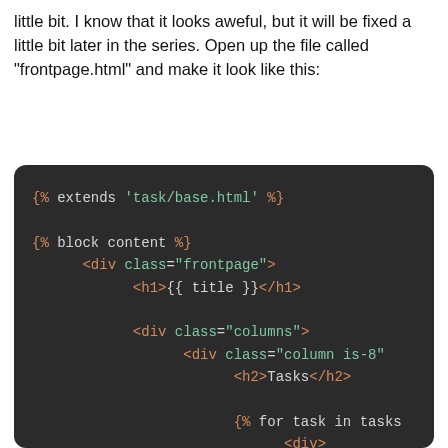little bit. I know that it looks aweful, but it will be fixed a little bit later in the series. Open up the file called "frontpage.html" and make it look like this:
[Figure (screenshot): Dark-themed code editor screenshot showing Django template code for frontpage.html, with syntax highlighting. Code includes: {% extends 'task/base.html' %}, {% block content %}, <div class="frontpage">, <h1>{{ title }}</h1>, <div class="columns">, <div class="column is-8", <h2>Tasks</h2>, {% for task in tasks, <div>, <p>{{ task.t, </div>, {% endfor %}]